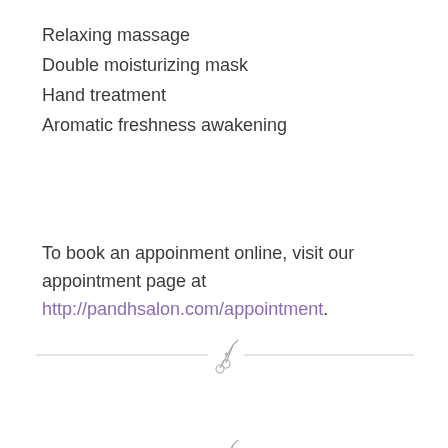Relaxing massage
Double moisturizing mask
Hand treatment
Aromatic freshness awakening
To book an appoinment online, visit our appointment page at http://pandhsalon.com/appointment.
[Figure (illustration): Scissors icon with horizontal dashed cut line, first divider]
[Figure (illustration): Scissors icon with horizontal dashed cut line, second divider]